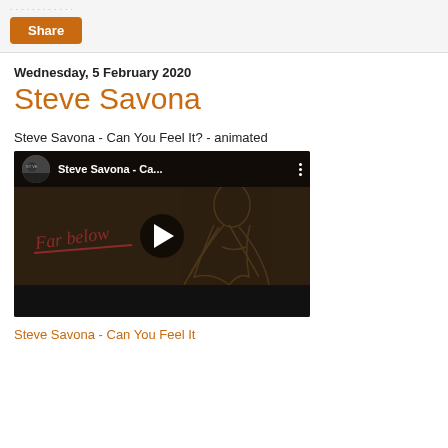[Figure (other): Share button with dotted line above it on a light grey bar]
Wednesday, 5 February 2020
Steve Savona
Steve Savona - Can You Feel It? - animated
[Figure (screenshot): YouTube video thumbnail for Steve Savona - Can You Feel It? showing an animated woman with long hair and the text 'Far below' in red handwriting, with a play button in the center]
Steve Savona - Can You Feel It